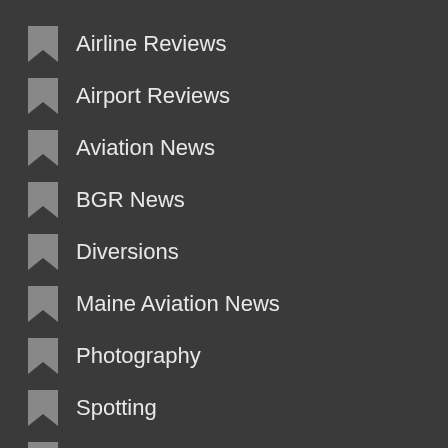Airline Reviews
Airport Reviews
Aviation News
BGR News
Diversions
Maine Aviation News
Photography
Spotting
Travel
Trip Reports
Uncategorized